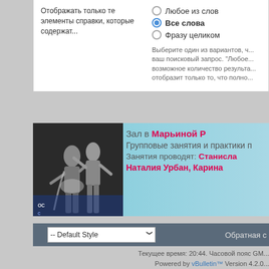Отображать только те элементы справки, которые содержат...
Любое из слов
Все слова (selected)
Фразу целиком
Выберите один из вариантов, ч... ваш поисковый запрос. "Любое... возможное количество результа... отобразит только то, что полно...
[Figure (photo): Banner with ballroom dancers photo on the left and Russian text on cyan/teal background. Text reads: Зал в Марьиной Р... Групповые занятия и практики п... Занятия проводят: Станисла... Наталия Урбан, Карина...]
-- Default Style    Обратная с...
Текущее время: 20:44. Часовой пояс GM... Powered by vBulletin™ Version 4.2.0... Copyright © 2022 vBulletin Solutions, Inc. All righ...